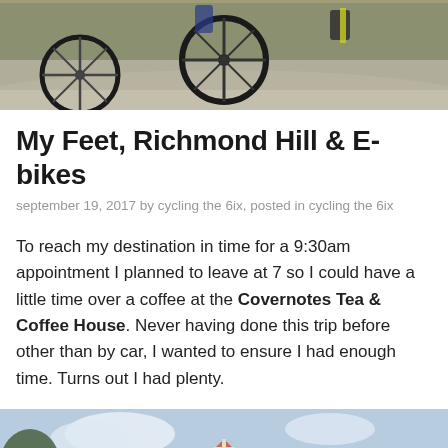[Figure (photo): Photo of bicycle wheels and riders on a path, cropped at top of page]
My Feet, Richmond Hill & E-bikes
september 19, 2017 by cycling the 6ix, posted in cycling the 6ix
To reach my destination in time for a 9:30am appointment I planned to leave at 7 so I could have a little time over a coffee at the Covernotes Tea & Coffee House. Never having done this trip before other than by car, I wanted to ensure I had enough time. Turns out I had plenty.
[Figure (photo): Photo of a red brick church or building with triangular gable, cross, and ornate stonework against a blue sky]